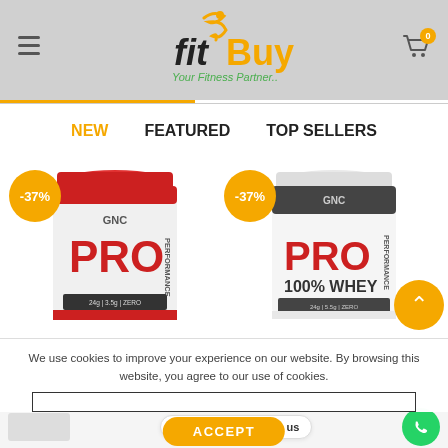[Figure (logo): FitBuy logo with orange swoosh figure, 'fit' in italic black, 'Buy' in orange bold, tagline 'Your Fitness Partner..' in green italic]
NEW   FEATURED   TOP SELLERS
[Figure (photo): GNC Pro Performance protein tub with red lid and -37% orange badge on the left]
[Figure (photo): GNC Pro Performance 100% Whey protein tub (white) with -37% orange badge on the right]
We use cookies to improve your experience on our website. By browsing this website, you agree to our use of cookies.
Need Help? Chat with us
ACCEPT